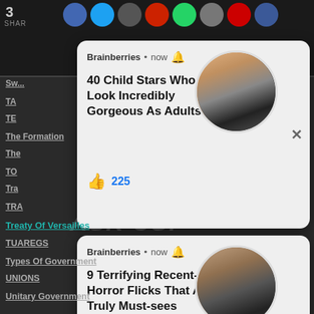3
SHAR
Sw...
TA...
TE...
The Formation
The...
TO...
Tra...
TRA...
[Figure (screenshot): Brainberries notification card 1: '40 Child Stars Who Look Incredibly Gorgeous As Adults' with 225 likes, circular photo thumbnail, and X close button]
ASK US!
[Figure (screenshot): Brainberries notification card 2: '9 Terrifying Recent-ish Horror Flicks That Are Truly Must-sees' with 746 likes, circular photo thumbnail, and X close button]
Treaty Of Versailles
TUAREGS
Types Of Government
UNIONS
Unitary Government
United Nations
UNSC
TAP HERE TO ASK:
No Thanks!